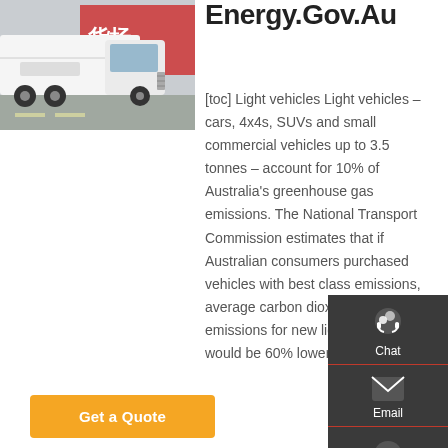[Figure (photo): White semi-truck / heavy vehicle parked on a road, front-left view, with red Chinese characters on a wall in the background]
Energy.Gov.Au
[toc] Light vehicles Light vehicles – cars, 4x4s, SUVs and small commercial vehicles up to 3.5 tonnes – account for 10% of Australia's greenhouse gas emissions. The National Transport Commission estimates that if Australian consumers purchased vehicles with best class emissions, average carbon dioxide (CO2) emissions for new light vehicles would be 60% lower.
[Figure (infographic): Sidebar with Chat, Email, Contact, and Top navigation icons on a dark grey background]
Get a Quote